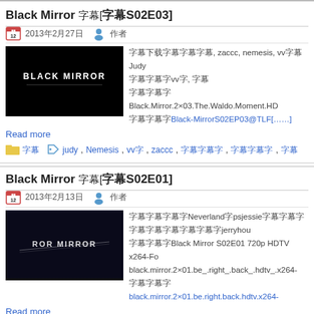Black Mirror 字幕[字幕S02E03]
2013年2月27日 作者
[Figure (photo): Black Mirror title card on dark background]
字幕下载字幕字幕字幕, zaccc, nemesis, vv字幕Judy 字幕字幕字幕vv字幕, 字幕 字幕字幕字幕Black.Mirror.2×03.The.Waldo.Moment.HD 字幕字幕字幕Black-MirrorS02EP03@TLF[......]
Read more
字幕 judy, Nemesis, vv字, zaccc, 字幕字幕字幕, 字幕字幕字幕, 字幕
Black Mirror 字幕[字幕S02E01]
2013年2月13日 作者
[Figure (photo): Black Mirror title card on dark background second episode]
字幕字幕字幕字幕Neverland字psjessie字幕字幕字幕字幕 字幕字幕字幕字幕字幕字幕字幕jerryhou 字幕字幕字幕Black Mirror S02E01 720p HDTV x264-Fo black.mirror.2×01.be_.right_.back_.hdtv_.x264- 字幕字幕字black.mirror.2×01.be.right.back.hdtv.x264-
Read more
SRT, 字幕, 字幕, 字幕字幕字幕, 字幕字幕字幕, 字幕, 字幕 jerryhou, neverland, psjessie, 字幕字幕字幕字幕, 字幕字幕字幕, 字幕, 字幕